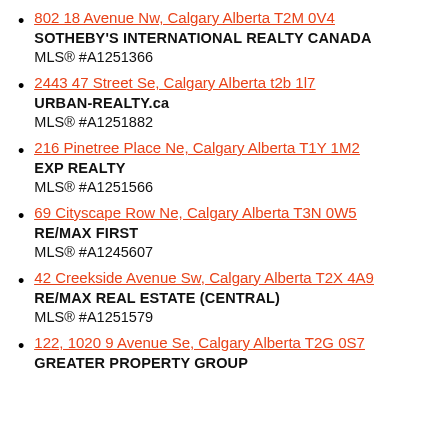802 18 Avenue Nw, Calgary Alberta T2M 0V4
SOTHEBY'S INTERNATIONAL REALTY CANADA
MLS® #A1251366
2443 47 Street Se, Calgary Alberta t2b 1l7
URBAN-REALTY.ca
MLS® #A1251882
216 Pinetree Place Ne, Calgary Alberta T1Y 1M2
EXP REALTY
MLS® #A1251566
69 Cityscape Row Ne, Calgary Alberta T3N 0W5
RE/MAX FIRST
MLS® #A1245607
42 Creekside Avenue Sw, Calgary Alberta T2X 4A9
RE/MAX REAL ESTATE (CENTRAL)
MLS® #A1251579
122, 1020 9 Avenue Se, Calgary Alberta T2G 0S7
GREATER PROPERTY GROUP